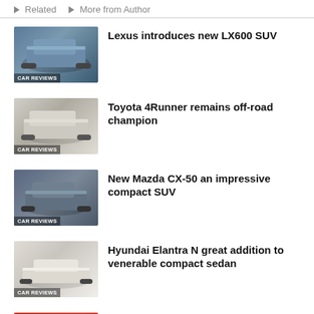Related   More from Author
Lexus introduces new LX600 SUV
Toyota 4Runner remains off-road champion
New Mazda CX-50 an impressive compact SUV
Hyundai Elantra N great addition to venerable compact sedan
2022 Toyota GR86 a rebadged Scion